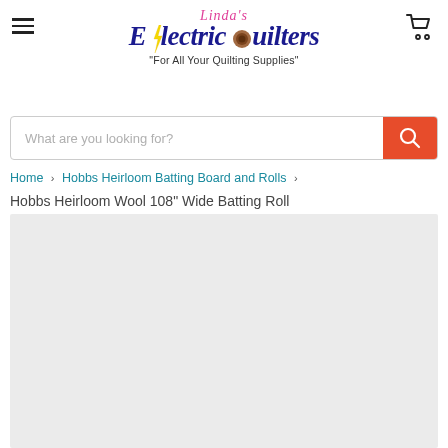Linda's Electric Quilters — "For All Your Quilting Supplies"
What are you looking for?
Home > Hobbs Heirloom Batting Board and Rolls > Hobbs Heirloom Wool 108" Wide Batting Roll
[Figure (photo): Light grey product image placeholder area]